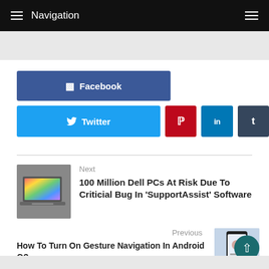Navigation
[Figure (screenshot): Grey strip showing partial website header element]
[Figure (infographic): Facebook share button (blue)]
[Figure (infographic): Twitter share button (light blue), Pinterest (red p), LinkedIn (blue in), Tumblr (dark blue t)]
[Figure (photo): Thumbnail of Dell XPS laptop with colorful screen]
Next
100 Million Dell PCs At Risk Due To Criticial Bug In 'SupportAssist' Software
Previous
How To Turn On Gesture Navigation In Android Q?
[Figure (photo): Thumbnail of Android phone screen showing settings]